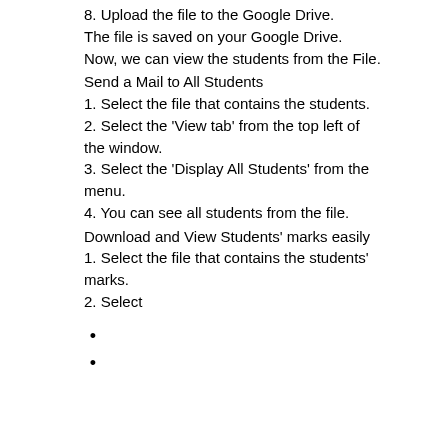8. Upload the file to the Google Drive.
The file is saved on your Google Drive.
Now, we can view the students from the File.
Send a Mail to All Students
1. Select the file that contains the students.
2. Select the 'View tab' from the top left of the window.
3. Select the 'Display All Students' from the menu.
4. You can see all students from the file.
Download and View Students' marks easily
1. Select the file that contains the students' marks.
2. Select